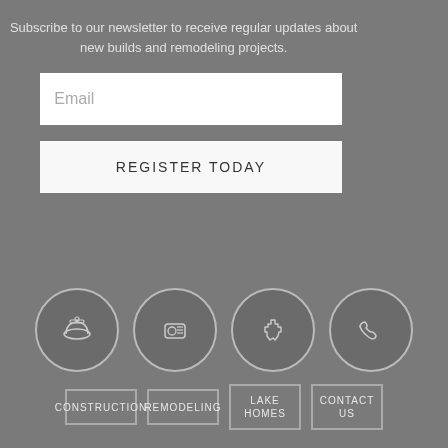Subscribe to our newsletter to receive regular updates about new builds and remodeling projects.
[Figure (screenshot): Email input field (white rectangle with placeholder text 'Email')]
[Figure (screenshot): Register Today button (white rectangle with text 'REGISTER TODAY')]
[Figure (infographic): Four circular icon buttons: construction helmet, tape measure, Minnesota state outline, phone. Below each: CONSTRUCTION, REMODELING, LAKE HOMES, CONTACT US labels in bordered boxes.]